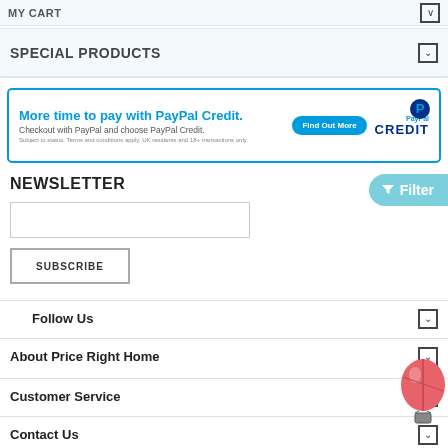MY CART
SPECIAL PRODUCTS
[Figure (screenshot): PayPal Credit promotional banner with blue border, 'More time to pay with PayPal Credit.', Find Out More button, and PayPal Credit logo]
NEWSLETTER
Follow Us
About Price Right Home
Customer Service
Contact Us